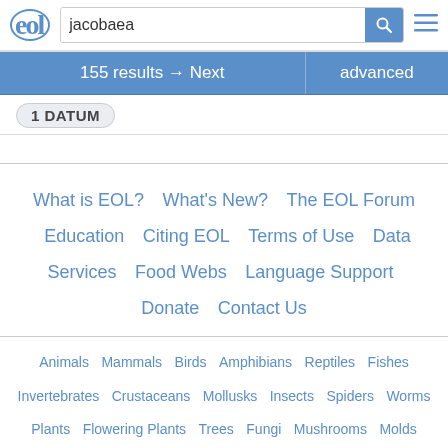EOL logo, search bar with 'jacobaea', search button, menu icon
155 results → Next   advanced
1 DATUM
What is EOL?   What's New?   The EOL Forum   Education   Citing EOL   Terms of Use   Data Services   Food Webs   Language Support   Donate   Contact Us
Animals   Mammals   Birds   Amphibians   Reptiles   Fishes   Invertebrates   Crustaceans   Mollusks   Insects   Spiders   Worms   Plants   Flowering Plants   Trees   Fungi   Mushrooms   Molds   Bacteria   Algae   Protists   Archaea   Viruses
EOL is hosted by:
[Figure (logo): National Museum of Natural History logo in bold black text]